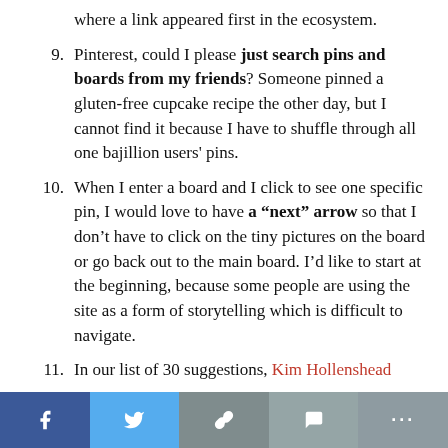where a link appeared first in the ecosystem.
9. Pinterest, could I please just search pins and boards from my friends? Someone pinned a gluten-free cupcake recipe the other day, but I cannot find it because I have to shuffle through all one bajillion users' pins.
10. When I enter a board and I click to see one specific pin, I would love to have a “next” arrow so that I don’t have to click on the tiny pictures on the board or go back out to the main board. I’d like to start at the beginning, because some people are using the site as a form of storytelling which is difficult to navigate.
11. In our list of 30 suggestions, Kim Hollenshead